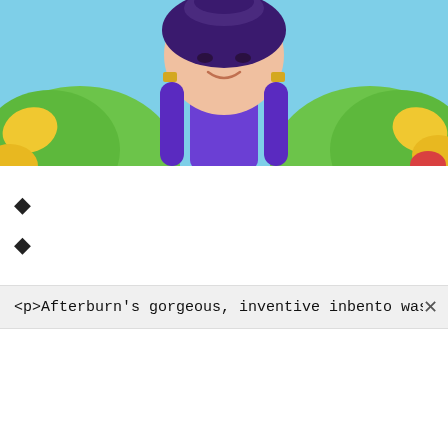[Figure (illustration): Colorful animated-style illustration of a character with dark purple twin-tail hair, wearing a green feathered or leafy outfit with yellow and red accents, against a light blue background. Only the upper body and face (smiling) are visible.]
◆
◆
<p>Afterburn's gorgeous, inventive inbento was one of t